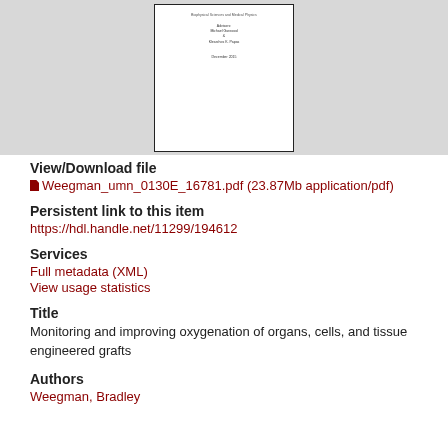[Figure (screenshot): Thumbnail preview of a document page showing title page content with Biophysical Sciences and Medical Physics, advisors Michael Garwood & Klearchos K. Papas, December 2015]
View/Download file
Weegman_umn_0130E_16781.pdf (23.87Mb application/pdf)
Persistent link to this item
https://hdl.handle.net/11299/194612
Services
Full metadata (XML)
View usage statistics
Title
Monitoring and improving oxygenation of organs, cells, and tissue engineered grafts
Authors
Weegman, Bradley